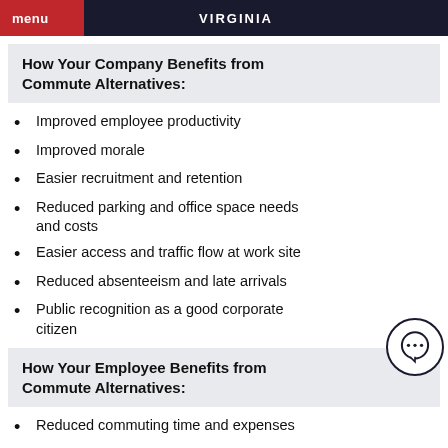menu  VIRGINIA
How Your Company Benefits from Commute Alternatives:
Improved employee productivity
Improved morale
Easier recruitment and retention
Reduced parking and office space needs and costs
Easier access and traffic flow at work site
Reduced absenteeism and late arrivals
Public recognition as a good corporate citizen
How Your Employee Benefits from Commute Alternatives:
Reduced commuting time and expenses
Reduced wear-and-tear on personal